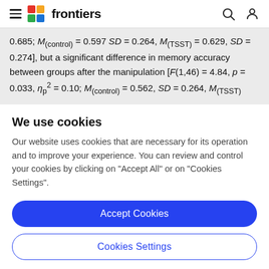frontiers
0.685; M(control) = 0.597 SD = 0.264, M(TSST) = 0.629, SD = 0.274], but a significant difference in memory accuracy between groups after the manipulation [F(1,46) = 4.84, p = 0.033, η²p = 0.10; M(control) = 0.562, SD = 0.264, M(TSST)
We use cookies
Our website uses cookies that are necessary for its operation and to improve your experience. You can review and control your cookies by clicking on "Accept All" or on "Cookies Settings".
Accept Cookies
Cookies Settings